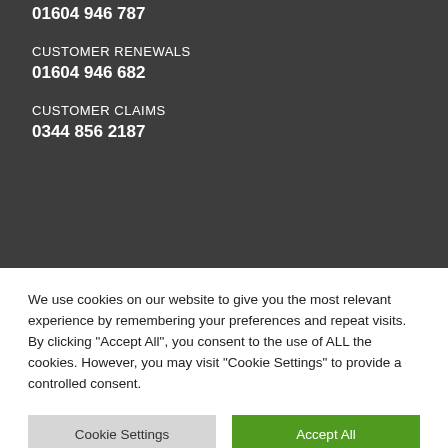01604 946 787
CUSTOMER RENEWALS
01604 946 682
CUSTOMER CLAIMS
0344 856 2187
We use cookies on our website to give you the most relevant experience by remembering your preferences and repeat visits. By clicking "Accept All", you consent to the use of ALL the cookies. However, you may visit "Cookie Settings" to provide a controlled consent.
Cookie Settings
Accept All